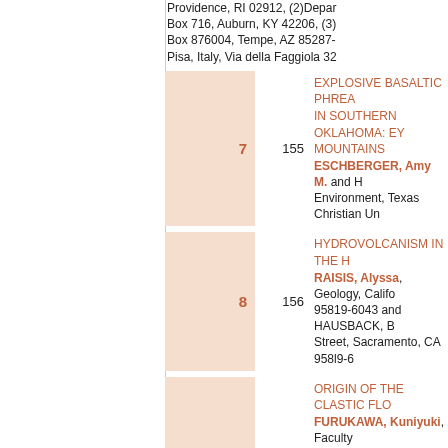Providence, RI 02912, (2)Depar Box 716, Auburn, KY 42206, (3) Box 876004, Tempe, AZ 85287-0 Pisa, Italy, Via della Faggiola 32
7  155  EXPLOSIVE BASALTIC PHREA IN SOUTHERN OKLAHOMA: EY MOUNTAINS ESCHBERGER, Amy M. and Ha Environment, Texas Christian Un
8  156  HYDROVOLCANISM IN THE H RAISIS, Alyssa, Geology, Califo 95819-6043 and HAUSBACK, B Street, Sacramento, CA 958l9-6
9  157  ORIGIN OF THE CLASTIC FLO FURUKAWA, Kuniyuki, Faculty Nakamura-ku, Nagoya-shi, 453- Sciences, College of Humanities Japan and UNO, Koji, Graduate Okayama, 700-8530, Japan, kfu
10  158  INFRARED STIMULATED LUMI RHYOLITE DOME (IMPERIAL C PERRINE, Andrew R., SCHMIT University of California, Los Ang
11  159  UNDERSTANDING THE MAGM FORMATION OF THE LAVA FU